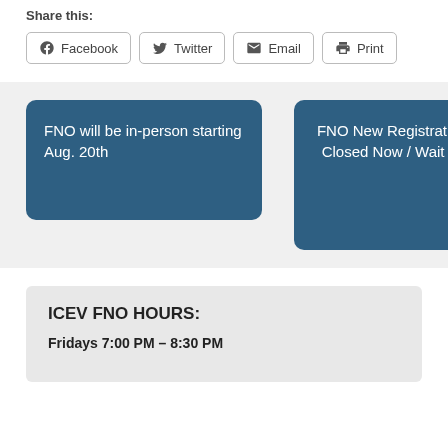Share this:
Facebook  Twitter  Email  Print
FNO will be in-person starting Aug. 20th
FNO New Registration is Closed Now / Wait list is open
ICEV FNO HOURS:
Fridays 7:00 PM – 8:30 PM